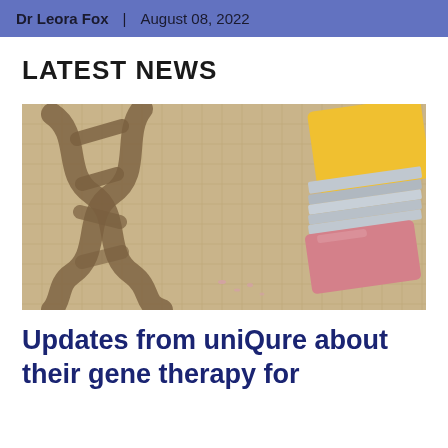Dr Leora Fox | August 08, 2022
LATEST NEWS
[Figure (photo): A pencil eraser erasing a DNA double helix drawn on aged paper, symbolizing gene editing or gene therapy.]
Updates from uniQure about their gene therapy for